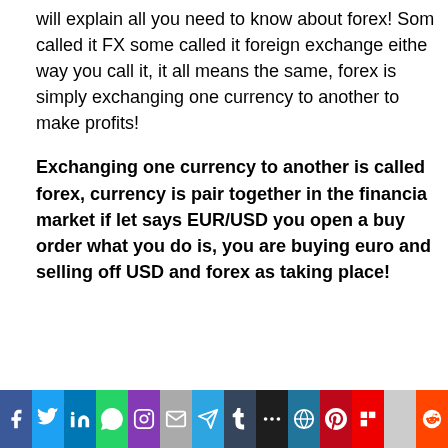will explain all you need to know about forex! Some called it FX some called it foreign exchange either way you call it, it all means the same, forex is simply exchanging one currency to another to make profits!
Exchanging one currency to another is called forex, currency is pair together in the financial market if let says EUR/USD you open a buy order what you do is, you are buying euro and selling off USD and forex as taking place!
[Figure (infographic): Social media share bar with icons for Facebook, Twitter, LinkedIn, WhatsApp, Instagram, Email, Telegram, Tumblr, More, WordPress, Pinterest, Flipboard, unknown, Reddit]